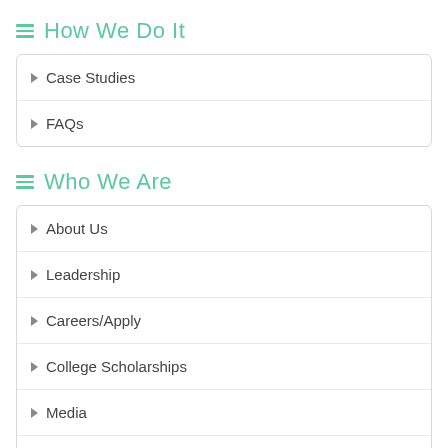How We Do It
Case Studies
FAQs
Who We Are
About Us
Leadership
Careers/Apply
College Scholarships
Media
Podcast